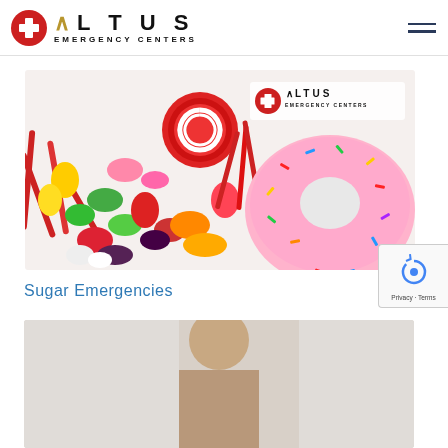ALTUS EMERGENCY CENTERS
[Figure (photo): Colorful assorted candy and sweets including gummy bears, licorice, lollipops and a pink frosted sprinkled donut on a white background, with Altus Emergency Centers logo watermark in upper right corner]
Sugar Emergencies
[Figure (photo): Partial view of a person, cropped, appears to be a medical or editorial photo related to the Sugar Emergencies article]